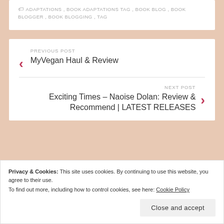ADAPTATIONS, BOOK ADAPTATIONS TAG, BOOK BLOG, BOOK BLOGGER, BOOK BLOGGING, TAG
PREVIOUS POST
MyVegan Haul & Review
NEXT POST
Exciting Times – Naoise Dolan: Review & Recommend | LATEST RELEASES
Privacy & Cookies: This site uses cookies. By continuing to use this website, you agree to their use.
To find out more, including how to control cookies, see here: Cookie Policy
Close and accept